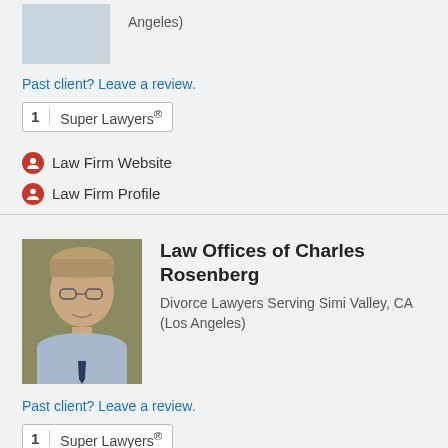Angeles)
Past client? Leave a review.
1  Super Lawyers®
Law Firm Website
Law Firm Profile
Law Offices of Charles Rosenberg
Divorce Lawyers Serving Simi Valley, CA (Los Angeles)
Past client? Leave a review.
1  Super Lawyers®
Law Firm Website